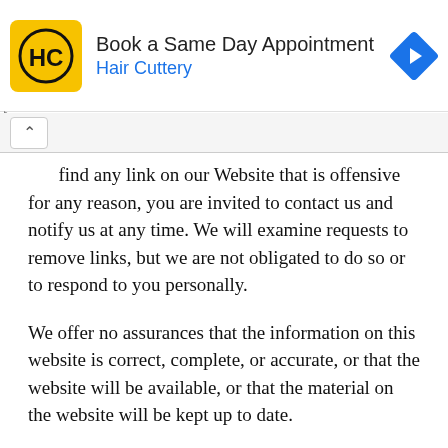[Figure (screenshot): Hair Cuttery advertisement banner: yellow square logo with HC initials, text 'Book a Same Day Appointment' and 'Hair Cuttery', blue diamond arrow icon on right]
...find any link on our Website that is offensive for any reason, you are invited to contact us and notify us at any time. We will examine requests to remove links, but we are not obligated to do so or to respond to you personally.
We offer no assurances that the information on this website is correct, complete, or accurate, or that the website will be available, or that the material on the website will be kept up to date.
Disclaimer
To the largest extent permitted by applicable law, we disclaim any and all claims, warranties, and conditions relating to this website and its use. Nothing in this